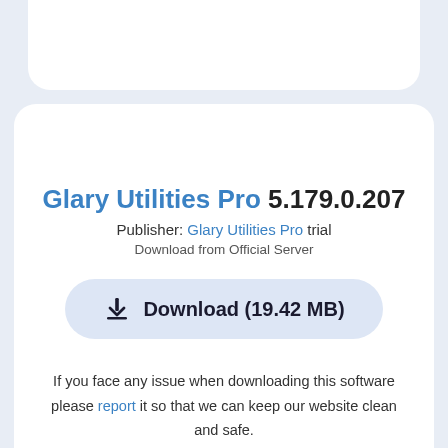Glary Utilities Pro 5.179.0.207
Publisher: Glary Utilities Pro trial
Download from Official Server
Download (19.42 MB)
If you face any issue when downloading this software please report it so that we can keep our website clean and safe.